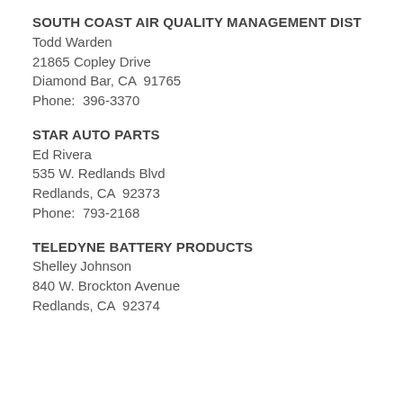SOUTH COAST AIR QUALITY MANAGEMENT DIST
Todd Warden
21865 Copley Drive
Diamond Bar, CA  91765
Phone:  396-3370
STAR AUTO PARTS
Ed Rivera
535 W. Redlands Blvd
Redlands, CA  92373
Phone:  793-2168
TELEDYNE BATTERY PRODUCTS
Shelley Johnson
840 W. Brockton Avenue
Redlands, CA  92374